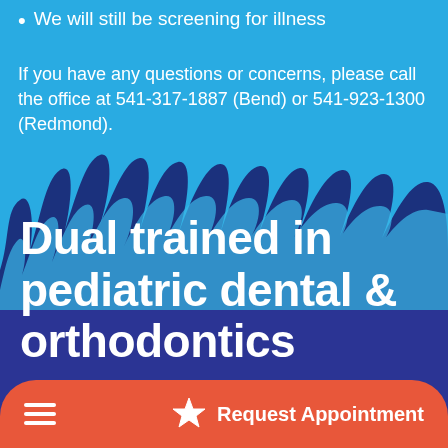We will still be screening for illness
If you have any questions or concerns, please call the office at 541-317-1887 (Bend) or 541-923-1300 (Redmond).
Dual trained in pediatric dental & orthodontics
Request Appointment